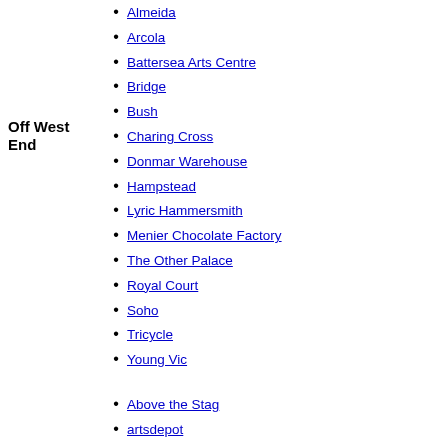Almeida
Arcola
Battersea Arts Centre
Bridge
Bush
Charing Cross
Donmar Warehouse
Off West End
Hampstead
Lyric Hammersmith
Menier Chocolate Factory
The Other Palace
Royal Court
Soho
Tricycle
Young Vic
Above the Stag
artsdepot
Ashcroft
Barons Court
Beck
Bob Hope
Bloomsbury
Brixton House
The Broadway
Broadway